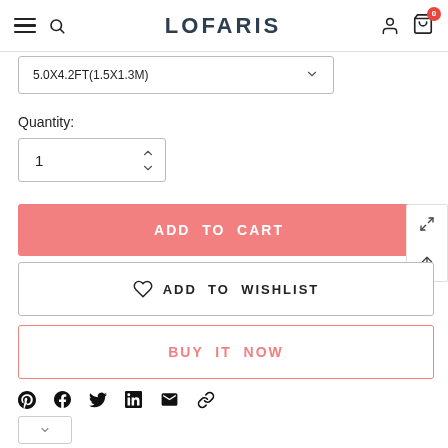LOFARIS - navigation header with hamburger, search, logo, user and cart icons
5.0X4.2FT(1.5X1.3M)
Quantity:
1
ADD TO CART
ADD TO WISHLIST
BUY IT NOW
[Figure (screenshot): Social share icons row: Pinterest, Facebook, Twitter, LinkedIn, Email, Link]